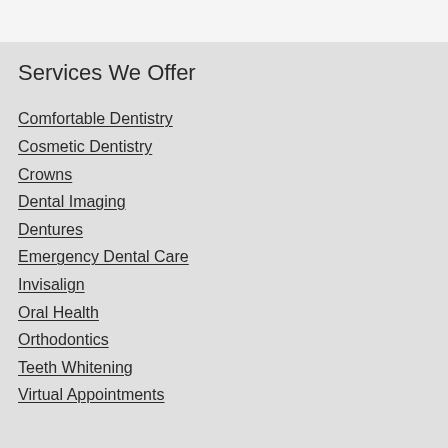Services We Offer
Comfortable Dentistry
Cosmetic Dentistry
Crowns
Dental Imaging
Dentures
Emergency Dental Care
Invisalign
Oral Health
Orthodontics
Teeth Whitening
Virtual Appointments